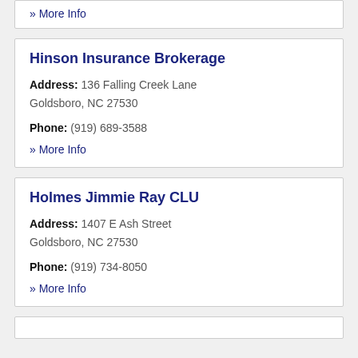» More Info
Hinson Insurance Brokerage
Address: 136 Falling Creek Lane Goldsboro, NC 27530
Phone: (919) 689-3588
» More Info
Holmes Jimmie Ray CLU
Address: 1407 E Ash Street Goldsboro, NC 27530
Phone: (919) 734-8050
» More Info